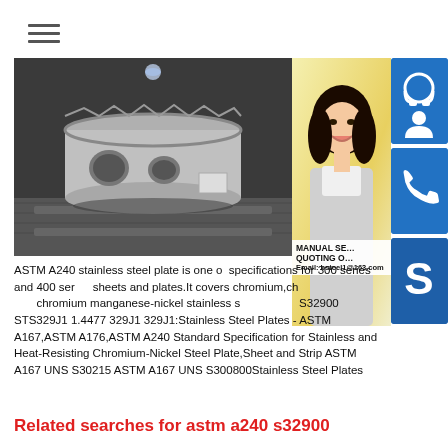[Figure (photo): Industrial steel vessel/component on a factory floor with rails]
[Figure (photo): Customer service woman with headset smiling, contact icons on right (headset, phone, Skype)]
ASTM A240 stainless steel plate is one of the most important specifications for 300 series and 400 series stainless steel sheets and plates.It covers chromium,chromium nickel and chromium manganese-nickel stainless steel plates, S32900 STS329J1 1.4477 329J1 329J1:Stainless Steel Plates - ASTM A167,ASTM A176,ASTM A240 Standard Specification for Stainless and Heat-Resisting Chromium-Nickel Steel Plate,Sheet and Strip ASTM A167 UNS S30215 ASTM A167 UNS S300800Stainless Steel Plates
Related searches for astm a240 s32900